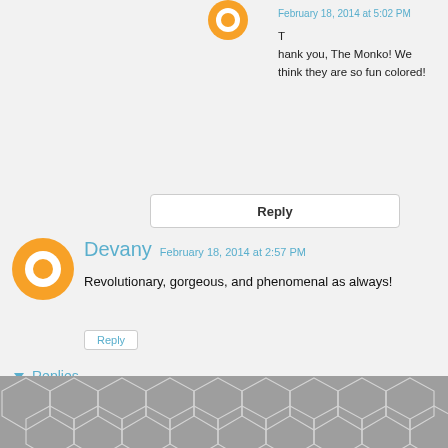February 18, 2014 at 5:02 PM
Thank you, The Monko! We think they are so fun colored!
Reply
Devany  February 18, 2014 at 2:57 PM
Revolutionary, gorgeous, and phenomenal as always!
Reply
Replies
Asia Citro